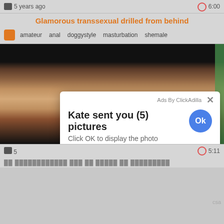5 years ago | 6:00
Glamorous transsexual drilled from behind
amateur  anal  doggystyle  masturbation  shemale
[Figure (screenshot): Video player thumbnail showing adult content, partially obscured by popup ad overlay]
[x] Close Ad
Ads By ClickAdilla  ×
Kate sent you (5) pictures
Click OK to display the photo
[Figure (other): Large blue circular Ok button in popup ad]
5 | 5:11
csa